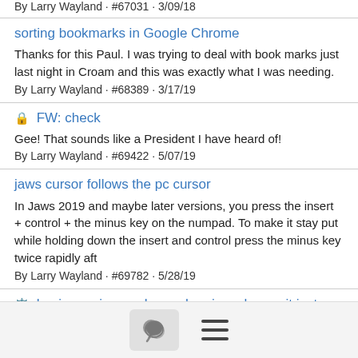By Larry Wayland · #67031 · 3/09/18
sorting bookmarks in Google Chrome
Thanks for this Paul. I was trying to deal with book marks just last night in Croam and this was exactly what I was needing.
By Larry Wayland · #68389 · 3/17/19
🔒 FW: check
Gee! That sounds like a President I have heard of!
By Larry Wayland · #69422 · 5/07/19
jaws cursor follows the pc cursor
In Jaws 2019 and maybe later versions, you press the insert + control + the minus key on the numpad. To make it stay put while holding down the insert and control press the minus key twice rapidly aft
By Larry Wayland · #69782 · 5/28/19
⚖ having an issue where when i use krome it just says blank
[Figure (other): Bottom navigation bar with chat bubble icon button and hamburger menu icon]